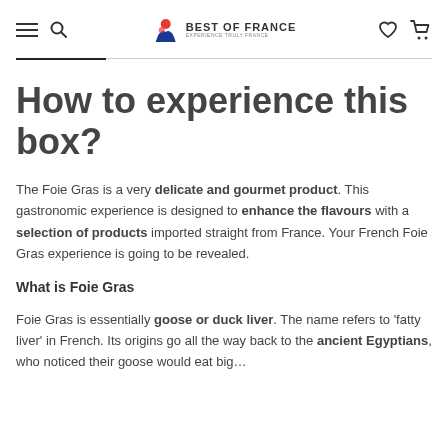Best of France — Experience Truly France (navigation header with hamburger, search, logo, heart, cart icons)
How to experience this box?
The Foie Gras is a very delicate and gourmet product. This gastronomic experience is designed to enhance the flavours with a selection of products imported straight from France. Your French Foie Gras experience is going to be revealed.
What is Foie Gras
Foie Gras is essentially goose or duck liver. The name refers to 'fatty liver' in French. Its origins go all the way back to the ancient Egyptians, who noticed their goose would eat big…